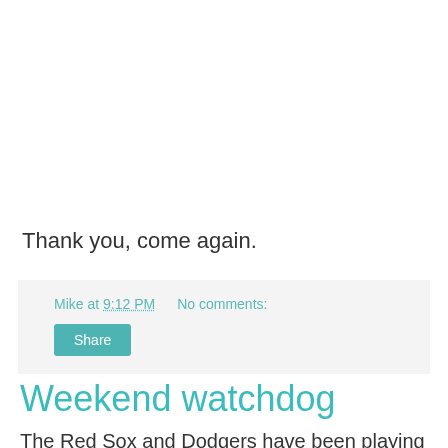Thank you, come again.
Mike at 9:12 PM    No comments:
Share
Weekend watchdog
The Red Sox and Dodgers have been playing since before